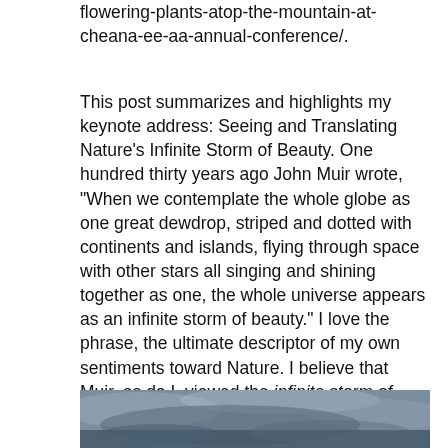flowering-plants-atop-the-mountain-at-cheana-ee-aa-annual-conference/.
This post summarizes and highlights my keynote address: Seeing and Translating Nature’s Infinite Storm of Beauty. One hundred thirty years ago John Muir wrote, “When we contemplate the whole globe as one great dewdrop, striped and dotted with continents and islands, flying through space with other stars all singing and shining together as one, the whole universe appears as an infinite storm of beauty.” I love the phrase, the ultimate descriptor of my own sentiments toward Nature. I believe that Muir, as do I, viewed the infinite storm of beauty as both literal and metaphorical.
[Figure (photo): Bottom portion of a dramatic storm sky photograph with dark clouds and grey tones, partially cropped at bottom of page.]